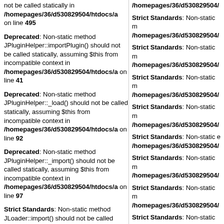not be called statically in /homepages/36/d530829504/htdocs/... on line 495
Deprecated: Non-static method JPluginHelper::importPlugin() should not be called statically, assuming $this from incompatible context in /homepages/36/d530829504/htdocs/... on line 41
Deprecated: Non-static method JPluginHelper::_load() should not be called statically, assuming $this from incompatible context in /homepages/36/d530829504/htdocs/... on line 92
Deprecated: Non-static method JPluginHelper::_import() should not be called statically, assuming $this from incompatible context in /homepages/36/d530829504/htdocs/... on line 97
Strict Standards: Non-static method JLoader::import() should not be called statically in /homepages/36/d530829504/htdocs/...
Strict Standards: Non-static method ... /homepages/36/d530829504/...
Strict Standards: Non-static method ... /homepages/36/d530829504/...
Strict Standards: Non-static method ... /homepages/36/d530829504/...
Strict Standards: Non-static method ... /homepages/36/d530829504/...
Strict Standards: Non-static method ... /homepages/36/d530829504/...
Strict Standards: Non-static method ... /homepages/36/d530829504/...
Strict Standards: Non-static method ... /homepages/36/d530829504/...
Strict Standards: Non-static method ... /homepages/36/d530829504/...